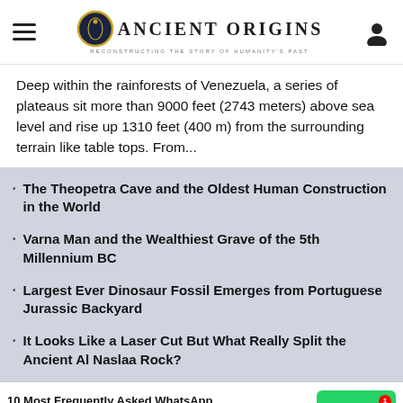Ancient Origins — Reconstructing the Story of Humanity's Past
Deep within the rainforests of Venezuela, a series of plateaus sit more than 9000 feet (2743 meters) above sea level and rise up 1310 feet (400 m) from the surrounding terrain like table tops. From...
The Theopetra Cave and the Oldest Human Construction in the World
Varna Man and the Wealthiest Grave of the 5th Millennium BC
Largest Ever Dinosaur Fossil Emerges from Portuguese Jurassic Backyard
It Looks Like a Laser Cut But What Really Split the Ancient Al Naslaa Rock?
10 Most Frequently Asked WhatsApp Messenger Questions Answered
Annurse
erious Roads